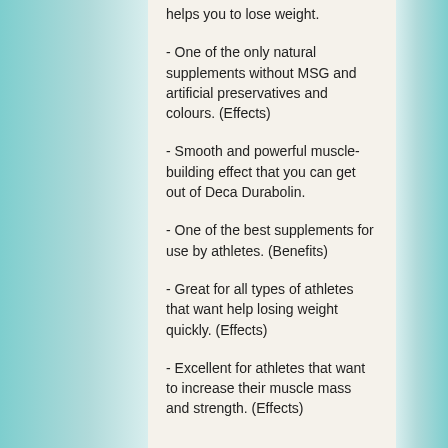helps you to lose weight.
- One of the only natural supplements without MSG and artificial preservatives and colours. (Effects)
- Smooth and powerful muscle-building effect that you can get out of Deca Durabolin.
- One of the best supplements for use by athletes. (Benefits)
- Great for all types of athletes that want help losing weight quickly. (Effects)
- Excellent for athletes that want to increase their muscle mass and strength. (Effects)